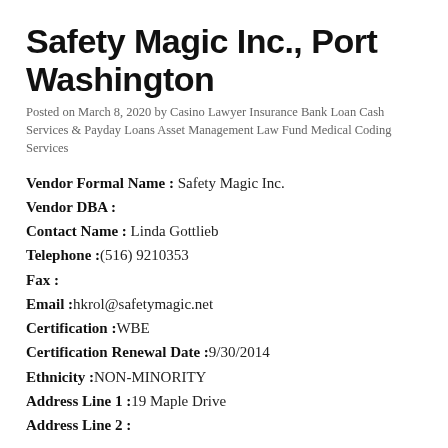Safety Magic Inc., Port Washington
Posted on March 8, 2020 by Casino Lawyer Insurance Bank Loan Cash Services & Payday Loans Asset Management Law Fund Medical Coding Services
Vendor Formal Name : Safety Magic Inc.
Vendor DBA :
Contact Name : Linda Gottlieb
Telephone :(516) 9210353
Fax :
Email :hkrol@safetymagic.net
Certification :WBE
Certification Renewal Date :9/30/2014
Ethnicity :NON-MINORITY
Address Line 1 :19 Maple Drive
Address Line 2 :